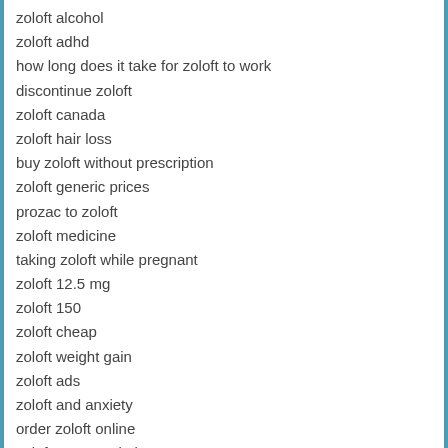zoloft alcohol
zoloft adhd
how long does it take for zoloft to work
discontinue zoloft
zoloft canada
zoloft hair loss
buy zoloft without prescription
zoloft generic prices
prozac to zoloft
zoloft medicine
taking zoloft while pregnant
zoloft 12.5 mg
zoloft 150
zoloft cheap
zoloft weight gain
zoloft ads
zoloft and anxiety
order zoloft online
zoloft no prescription
side of effects of zoloft
zoloft generic
zoloft price
zoloft vs prozac